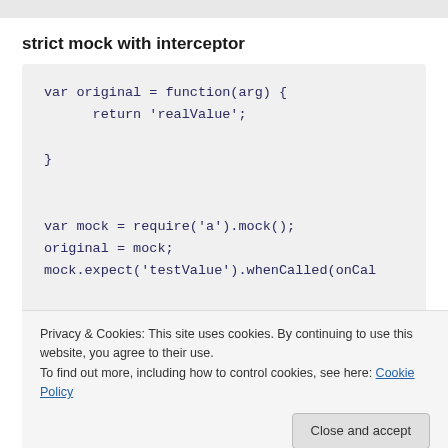strict mock with interceptor
[Figure (screenshot): Code block showing JavaScript: var original = function(arg) { return 'realValue'; } followed by var mock = require('a').mock(); original = mock; mock.expect('testValue').whenCalled(onCal...]
Privacy & Cookies: This site uses cookies. By continuing to use this website, you agree to their use.
To find out more, including how to control cookies, see here: Cookie Policy
Close and accept
[Figure (screenshot): Partial code line: original('testValue'); //returns 'fake1']